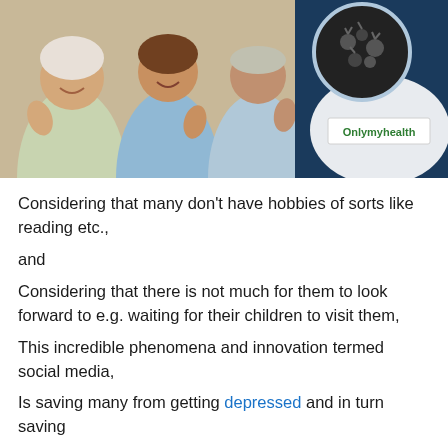[Figure (photo): Three elderly people smiling and giving thumbs up, with a circular inset showing a microscope image of bacteria/virus particles. Onlymyhealth brand logo visible in bottom right of image.]
Considering that many don't have hobbies of sorts like reading etc.,
and
Considering that there is not much for them to look forward to e.g. waiting for their children to visit them,
This incredible phenomena and innovation termed social media,
Is saving many from getting depressed and in turn saving